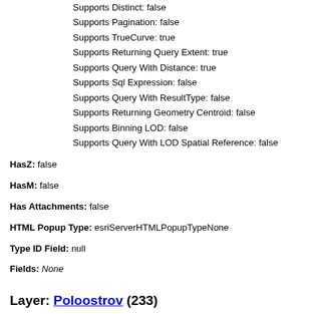Supports Distinct: false
Supports Pagination: false
Supports TrueCurve: true
Supports Returning Query Extent: true
Supports Query With Distance: true
Supports Sql Expression: false
Supports Query With ResultType: false
Supports Returning Geometry Centroid: false
Supports Binning LOD: false
Supports Query With LOD Spatial Reference: false
HasZ: false
HasM: false
Has Attachments: false
HTML Popup Type: esriServerHTMLPopupTypeNone
Type ID Field: null
Fields: None
Layer: Poloostrov (233)
Parent Layer: nazvoslovi.sde.jmena_moriAnno_antarctic128
Name: Poloostrov